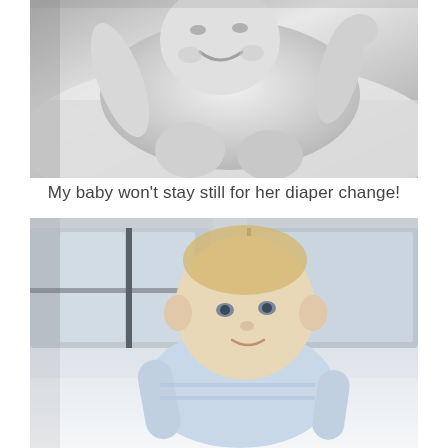[Figure (photo): Black and white photo of a smiling newborn baby lying on a white blanket, arms raised]
My baby won't stay still for her diaper change!
[Figure (photo): Color photo of a blonde baby in a light blue outfit crawling or propped up, looking at camera, with windows and blurred city background. A dark circular shopping bag icon with a heart is overlaid in the lower left.]